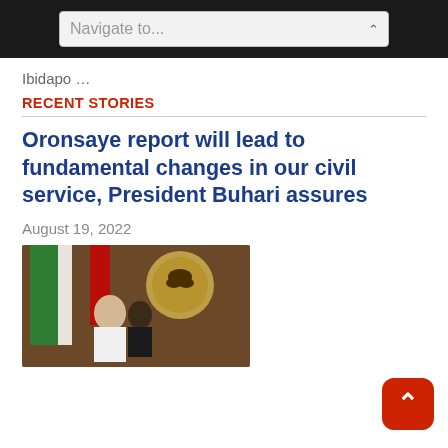Navigate to...
Ibidapo …
RECENT STORIES
Oronsaye report will lead to fundamental changes in our civil service, President Buhari assures
August 19, 2022
[Figure (photo): President Buhari standing in front of Nigerian coat of arms seal, with Nigerian flag visible to the left and a military aide behind him]